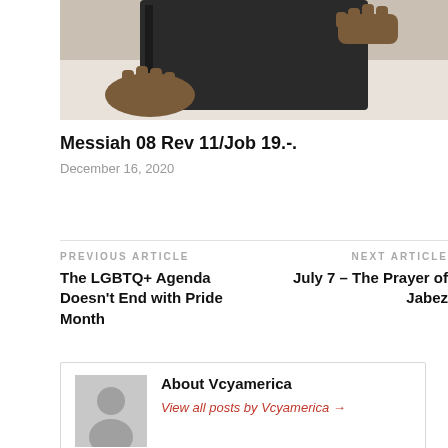[Figure (photo): Person holding a dark book (Bible) in their hands, cropped showing hands and book]
Messiah 08 Rev 11/Job 19.-.
December 16, 2020
PREVIOUS ARTICLE
The LGBTQ+ Agenda Doesn't End with Pride Month
NEXT ARTICLE
July 7 – The Prayer of Jabez
[Figure (illustration): Grey avatar placeholder silhouette icon]
About Vcyamerica
View all posts by Vcyamerica →